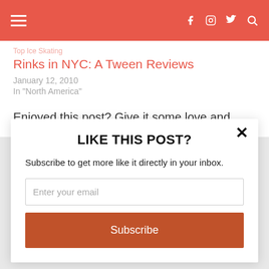Header navigation bar with hamburger menu and social icons (Facebook, Instagram, Twitter, Search)
Rinks in NYC: A Tween Reviews
January 12, 2010
In "North America"
Enjoyed this post? Give it some love and share!
LIKE THIS POST?
Subscribe to get more like it directly in your inbox.
Enter your email
Subscribe